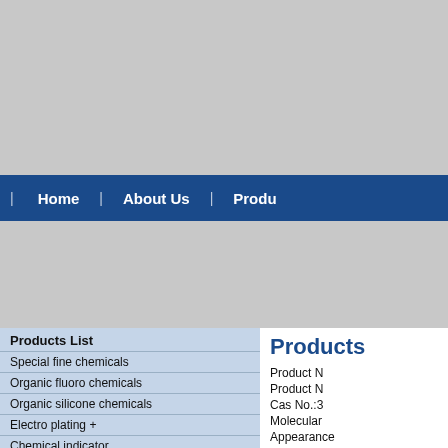[Figure (other): Top gray banner area (header image placeholder)]
| Home | About Us | Produ...
[Figure (other): Middle gray content/image area]
Products List
Special fine chemicals
Organic fluoro chemicals
Organic silicone chemicals
Electro plating +
Chemical indicator
API
OLED intermediate +
Products
Product N
Product N
Cas No.:3
Molecular
Appearance